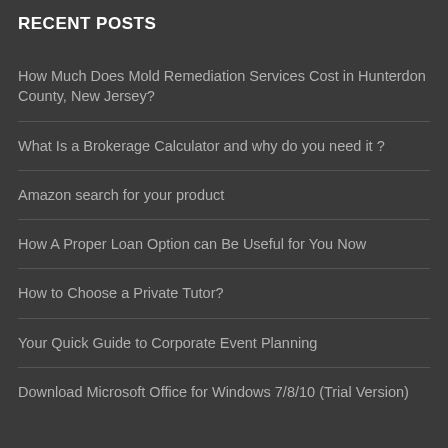RECENT POSTS
How Much Does Mold Remediation Services Cost in Hunterdon County, New Jersey?
What Is a Brokerage Calculator and why do you need it ?
Amazon search for your product
How A Proper Loan Option can Be Useful for You Now
How to Choose a Private Tutor?
Your Quick Guide to Corporate Event Planning
Download Microsoft Office for Windows 7/8/10 (Trial Version)